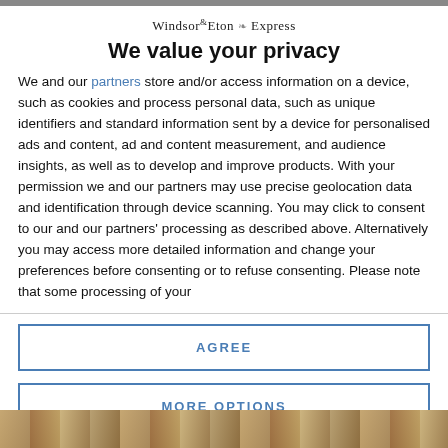[Figure (logo): Windsor & Eton Express newspaper logo with decorative fleur element]
We value your privacy
We and our partners store and/or access information on a device, such as cookies and process personal data, such as unique identifiers and standard information sent by a device for personalised ads and content, ad and content measurement, and audience insights, as well as to develop and improve products. With your permission we and our partners may use precise geolocation data and identification through device scanning. You may click to consent to our and our partners' processing as described above. Alternatively you may access more detailed information and change your preferences before consenting or to refuse consenting. Please note that some processing of your
AGREE
MORE OPTIONS
[Figure (photo): Partial photo visible at the bottom of the page]